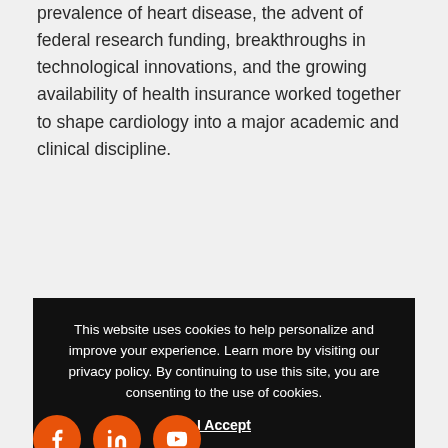prevalence of heart disease, the advent of federal research funding, breakthroughs in technological innovations, and the growing availability of health insurance worked together to shape cardiology into a major academic and clinical discipline.
This website uses cookies to help personalize and improve your experience. Learn more by visiting our privacy policy. By continuing to use this site, you are consenting to the use of cookies. I Accept
[Figure (other): Three circular orange social media icons (Facebook, LinkedIn, YouTube) partially visible at the bottom of the page]